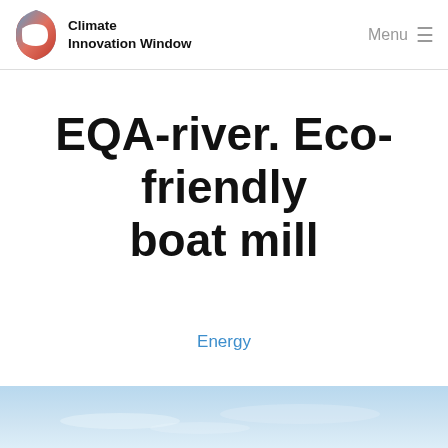Climate Innovation Window | Menu
EQA-river. Eco-friendly boat mill
Energy
[Figure (photo): Light blue sky photograph strip at the bottom of the page]